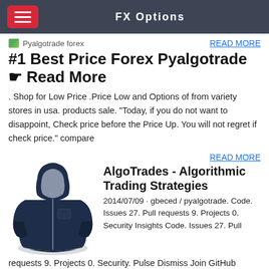FX Options
Pyalgotrade forex   READ MORE
#1 Best Price Forex Pyalgotrade ☛ Read More
. Shop for Low Price .Price Low and Options of from variety stores in usa. products sale. "Today, if you do not want to disappoint, Check price before the Price Up. You will not regret if check price." compare
[Figure (photo): Navy blue zip-up hoodie jacket]
READ MORE
AlgoTrades - Algorithmic Trading Strategies
2014/07/09 · gbeced / pyalgotrade. Code. Issues 27. Pull requests 9. Projects 0. Security Insights Code. Issues 27. Pull requests 9. Projects 0. Security. Pulse Dismiss Join GitHub today. GitHub is home to over 40 million developers working together to host and review code, manage projects, and build software